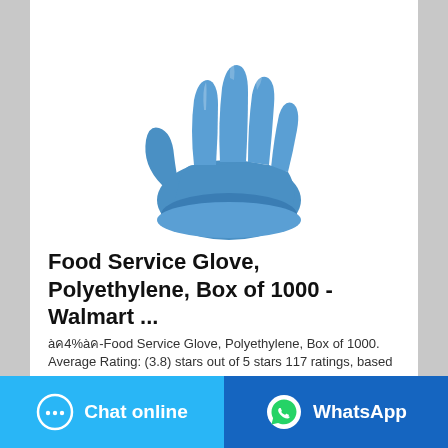[Figure (photo): A blue polyethylene food service glove on a white background, fingers spread upward]
Food Service Glove, Polyethylene, Box of 1000 - Walmart ...
4%-Food Service Glove, Polyethylene, Box of 1000. Average Rating: (3.8) stars out of 5 stars 117 ratings, based on 117 reviews. 56 comments. A200012. $21.49 $
Chat online
WhatsApp